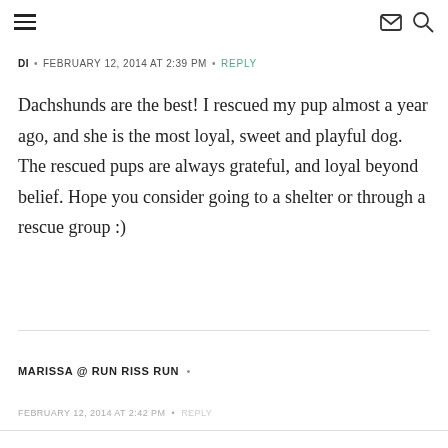≡  ✉ 🔍
DI  •  FEBRUARY 12, 2014 AT 2:39 PM  •  REPLY
Dachshunds are the best! I rescued my pup almost a year ago, and she is the most loyal, sweet and playful dog. The rescued pups are always grateful, and loyal beyond belief. Hope you consider going to a shelter or through a rescue group :)
MARISSA @ RUN RISS RUN  •
FEBRUARY 12, 2014 AT 2:42 PM  •  REPLY